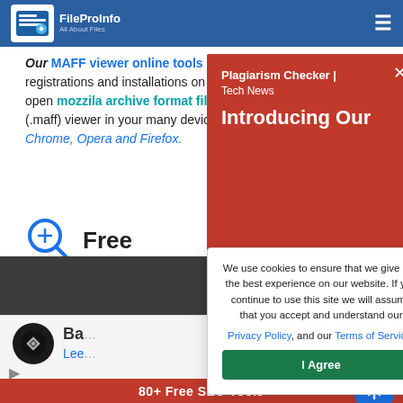Open MAFF file online
[Figure (logo): FileProInfo logo with text 'FileProInfo All About Files']
Our MAFF viewer online tools does not required any registrations and installations on your system, 100% free and open mozzila archive format file (.maff) viewer in your many devices with a modern browser like Chrome, Opera and Firefox.
Free
[Figure (screenshot): Screenshot of the MAFF viewer interface showing a dark toolbar]
[Figure (infographic): Red popup overlay with 'Plagiarism Checker | Tech News' and 'Introducing Our' text with close X button]
[Figure (infographic): White cookie consent modal with text 'We use cookies to ensure that we give you the best experience on our website. If you continue to use this site we will assume that you accept and understand our Privacy Policy, and our Terms of Service.' and 'I Agree' button]
80+ Free SEO Tools
[Figure (illustration): Advertisement block with caption 'Ba...' and 'Lee...' subtitle with a circular dark logo and navigation elements]